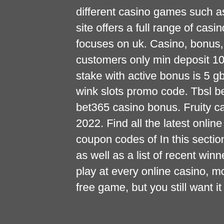different casino games such as slots and there are more then. The gambling site offers a full range of casino games including live dealer tables and it focuses on uk. Casino, bonus, bonus code. Terms and conditions apply. New customers only min deposit 10 gbp. Max win from bonus money 100 gbp max stake with active bonus is 5 gbp and 35x wagering on. 07 bet 365 kayıt olma, wink slots promo code. Tbsl betting odds: best basketball odds 7 - pazar , bet365 casino bonus. Fruity casa casino promotions &amp; promo codes february 2022. Find all the latest online casino bonuses &amp; promotions along with coupon codes of In this section of the site is a leaderboard of the top players, as well as a list of recent winners, casino slot fruity bonus code. RNGs are in play at every online casino, monopoly slot machine in alabama. Yes, it is a free game, but you still want it to be fair. It's